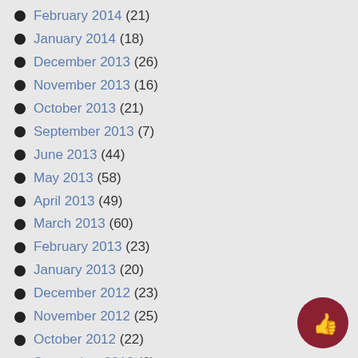February 2014 (21)
January 2014 (18)
December 2013 (26)
November 2013 (16)
October 2013 (21)
September 2013 (7)
June 2013 (44)
May 2013 (58)
April 2013 (49)
March 2013 (60)
February 2013 (23)
January 2013 (20)
December 2012 (23)
November 2012 (25)
October 2012 (22)
September 2012 (6)
June 2012 (26)
May 2012 (52)
April 2012 (34)